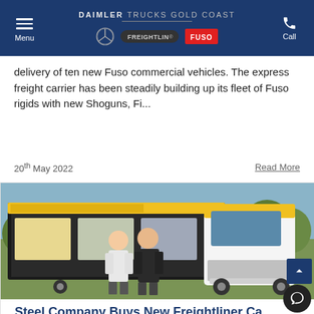DAIMLER TRUCKS GOLD COAST — Menu | Call
delivery of ten new Fuso commercial vehicles. The express freight carrier has been steadily building up its fleet of Fuso rigids with new Shoguns, Fi...
20th May 2022    Read More
[Figure (photo): Two men standing in front of a yellow and white Freightliner truck with trees in the background]
Steel Company Buys New Freightliner Ca...